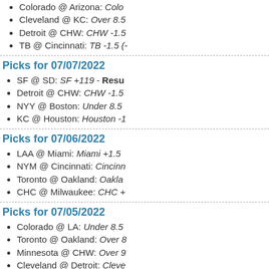Colorado @ Arizona: Colo…
Cleveland @ KC: Over 8.5…
Detroit @ CHW: CHW -1.5…
TB @ Cincinnati: TB -1.5 (-…
Picks for 07/07/2022
SF @ SD: SF +119 - Resu…
Detroit @ CHW: CHW -1.5…
NYY @ Boston: Under 8.5…
KC @ Houston: Houston -1…
Picks for 07/06/2022
LAA @ Miami: Miami +1.5 …
NYM @ Cincinnati: Cincinn…
Toronto @ Oakland: Oakla…
CHC @ Milwaukee: CHC +…
Picks for 07/05/2022
Colorado @ LA: Under 8.5…
Toronto @ Oakland: Over 8…
Minnesota @ CHW: Over 9…
Cleveland @ Detroit: Cleve…
NYM @ Cincinnati: NYM -1…
Picks for 07/04/2022
Colorado @ LA: LA -1.5 (-1…
Minnesota @ CHW: Over…